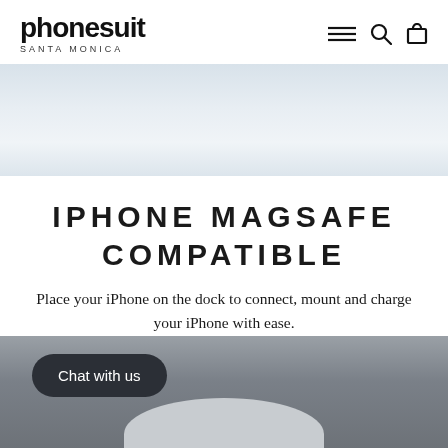phonesuit SANTA MONICA
[Figure (photo): Hero banner image with light blue-grey gradient background, partially visible product]
IPHONE MAGSAFE COMPATIBLE
Place your iPhone on the dock to connect, mount and charge your iPhone with ease.
[Figure (screenshot): Dark grey section with a 'Chat with us' button in dark rounded pill shape, and a rounded light grey shape at the bottom center]